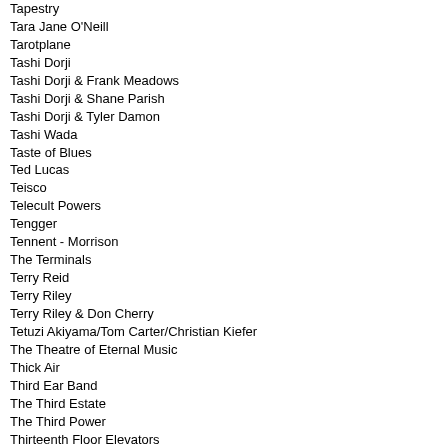Tapestry
Tara Jane O'Neill
Tarotplane
Tashi Dorji
Tashi Dorji & Frank Meadows
Tashi Dorji & Shane Parish
Tashi Dorji & Tyler Damon
Tashi Wada
Taste of Blues
Ted Lucas
Teisco
Telecult Powers
Tengger
Tennent - Morrison
The Terminals
Terry Reid
Terry Riley
Terry Riley & Don Cherry
Tetuzi Akiyama/Tom Carter/Christian Kiefer
The Theatre of Eternal Music
Thick Air
Third Ear Band
The Third Estate
The Third Power
Thirteenth Floor Elevators
Thomas Mera Gartz
Thomas Wiehe
Thomas Wiehe and Turid Lundquist
Thomas Yates
Thompson
Three Humpback Whales
Thrower - Spillane - McFarland
Thuja
Thundermother
Thurston Moore / John Moloney
Thyme Lines
Tidewater
Tilth